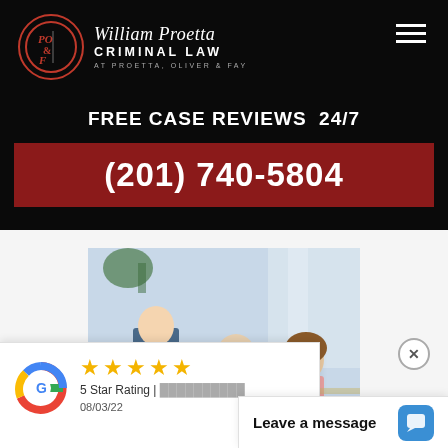[Figure (logo): William Proetta Criminal Law logo with PO&F circular emblem on black background]
FREE CASE REVIEWS 24/7
(201) 740-5804
[Figure (photo): Consultation photo showing a lawyer meeting with a young couple across a desk]
[Figure (screenshot): Google review widget showing 5 stars, '5 Star Rating' text, date 08/03/22, and a 'Leave a message' chat bar]